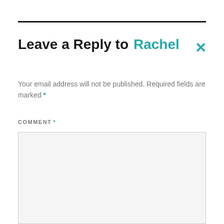Leave a Reply to Rachel ×
Your email address will not be published. Required fields are marked *
COMMENT *
[Figure (other): Empty comment text area input box with light gray background and border]